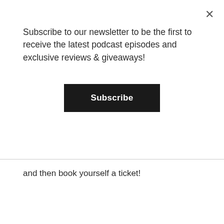×
Subscribe to our newsletter to be the first to receive the latest podcast episodes and exclusive reviews & giveaways!
Subscribe
and then book yourself a ticket!